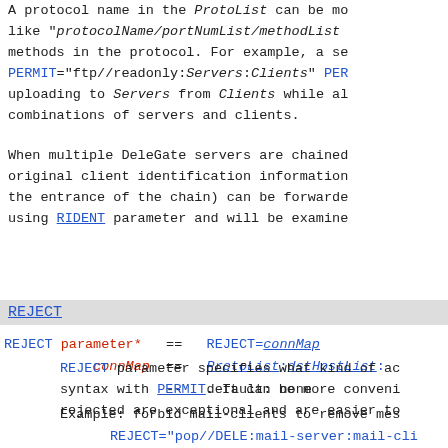A protocol name in the ProtoList can be modified like "protocolName/portNumList/methodList" methods in the protocol. For example, a se PERMIT="ftp//readonly:Servers:Clients" PER uploading to Servers from Clients while al combinations of servers and clients.
When multiple DeleGate servers are chained original client identification information the entrance of the chain) can be forwarde using RIDENT parameter and will be examine
REJECT
REJECT parameter*  ==  REJECT=connMap
           connMap  ==  ProtoList:dstHostList:
                    --  default: none
REJECT parameter specifies what kind of ac syntax with PERMIT. It can be more conveni rejected are exceptional and are easier to
Example: forbid mail-clients to remove mes
REJECT="pop//DELE:mail-server:mail-cli